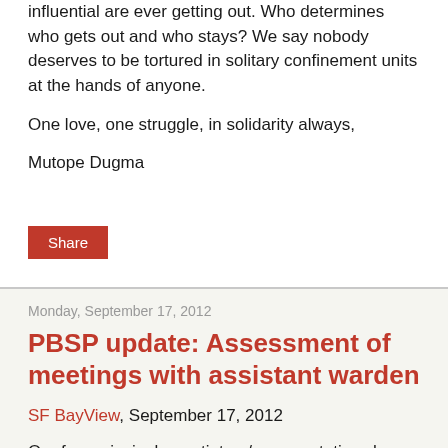influential are ever getting out. Who determines who gets out and who stays? We say nobody deserves to be tortured in solitary confinement units at the hands of anyone.
One love, one struggle, in solidarity always,
Mutope Dugma
Share
Monday, September 17, 2012
PBSP update: Assessment of meetings with assistant warden
SF BayView, September 17, 2012
Our four principal negotiators/representatives here in the Pelican Bay State Prison Short Corridor remain steadfast toward achieving our five core demands, which has been on